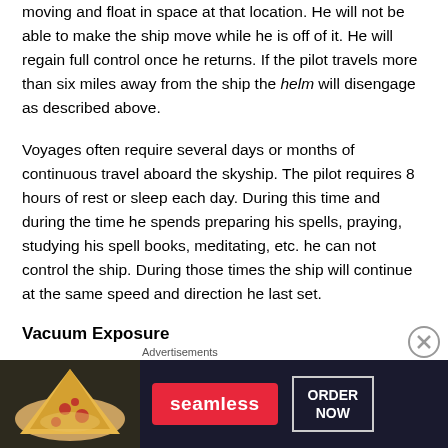moving and float in space at that location. He will not be able to make the ship move while he is off of it. He will regain full control once he returns. If the pilot travels more than six miles away from the ship the helm will disengage as described above.
Voyages often require several days or months of continuous travel aboard the skyship. The pilot requires 8 hours of rest or sleep each day. During this time and during the time he spends preparing his spells, praying, studying his spell books, meditating, etc. he can not control the ship. During those times the ship will continue at the same speed and direction he last set.
Vacuum Exposure
[Figure (other): Seamless food delivery advertisement banner with pizza image, Seamless logo button, and ORDER NOW button]